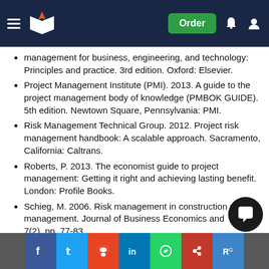Navigation header with logo and Order button
management for business, engineering, and technology: Principles and practice. 3rd edition. Oxford: Elsevier.
Project Management Institute (PMI). 2013. A guide to the project management body of knowledge (PMBOK GUIDE). 5th edition. Newtown Square, Pennsylvania: PMI.
Risk Management Technical Group. 2012. Project risk management handbook: A scalable approach. Sacramento, California: Caltrans.
Roberts, P. 2013. The economist guide to project management: Getting it right and achieving lasting benefit. London: Profile Books.
Schieg, M. 2006. Risk management in construction project management. Journal of Business Economics and Management. 7(2). pp. 77-83.